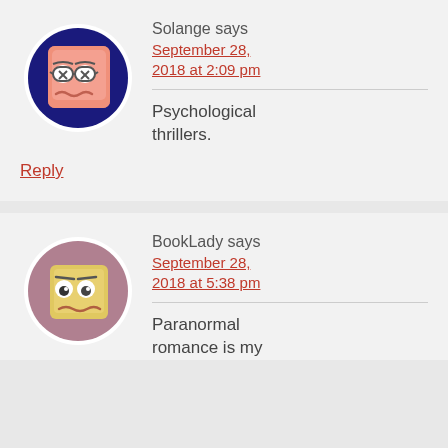[Figure (illustration): Cartoon avatar of a pink book character with glasses and a worried expression on a dark navy blue circular background]
Solange says
September 28, 2018 at 2:09 pm
Psychological thrillers.
Reply
[Figure (illustration): Cartoon avatar of a yellow/tan square-faced character with a worried expression on a mauve/rose circular background]
BookLady says
September 28, 2018 at 5:38 pm
Paranormal romance is my